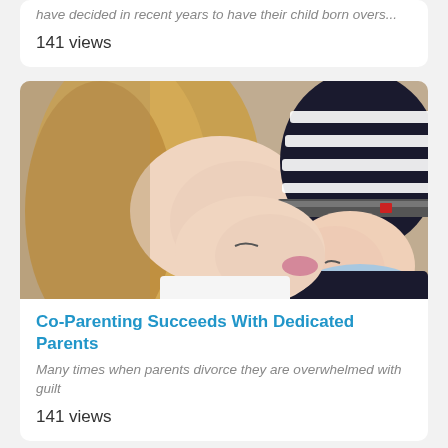have decided in recent years to have their child born overs...
145 views
[Figure (photo): A mother kissing a smiling baby wearing a striped black and white hat and dark jacket outdoors]
Co-Parenting Succeeds With Dedicated Parents
Many times when parents divorce they are overwhelmed with guilt
141 views
[Figure (photo): Partial view of a bottom card with small decorative objects on a light background]